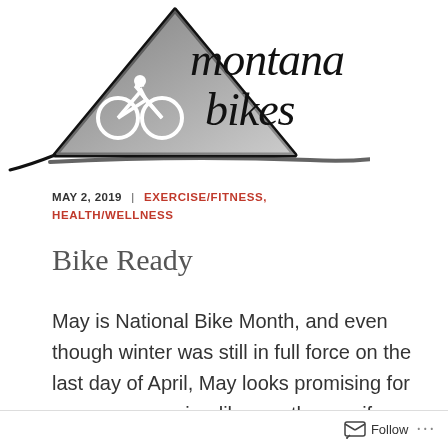[Figure (logo): Montana Bikes logo: a triangle mountain shape with a bicycle rider silhouette inside, and cursive/handwritten text 'montana bikes' to the right, with a brushstroke underline.]
MAY 2, 2019 | EXERCISE/FITNESS, HEALTH/WELLNESS
Bike Ready
May is National Bike Month, and even though winter was still in full force on the last day of April, May looks promising for some more spring-like weather, so if you haven't already, this weekend could be a great time to knock
Follow ...